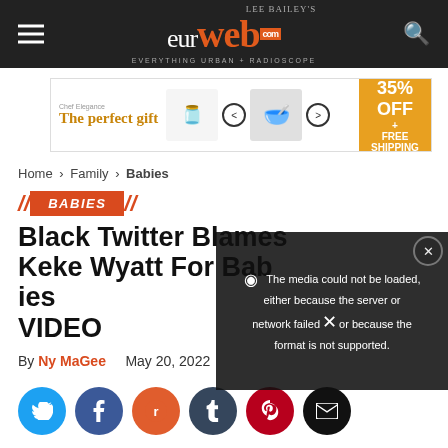Lee Bailey's eurweb — EVERYTHING URBAN + RADIOSCOPE
[Figure (infographic): Advertisement banner: The perfect gift, 35% OFF + FREE SHIPPING, showing kitchen product with navigation arrows]
Home › Family › Babies
BABIES
Black Twitter Blames Keke Wyatt For Babies VIDEO
By Ny MaGee    May 20, 2022
[Figure (screenshot): Video player showing error: The media could not be loaded, either because the server or network failed or because the format is not supported.]
Social sharing icons: Twitter, Facebook, Reddit, Tumblr, Pinterest, Email